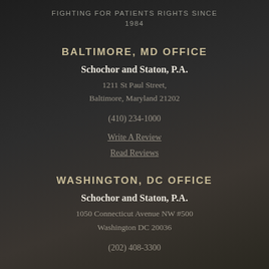FIGHTING FOR PATIENTS RIGHTS SINCE 1984
BALTIMORE, MD OFFICE
Schochor and Staton, P.A.
1211 St Paul Street,
Baltimore, Maryland 21202
(410) 234-1000
Write A Review
Read Reviews
WASHINGTON, DC OFFICE
Schochor and Staton, P.A.
1050 Connecticut Avenue NW #500
Washington DC 20036
(202) 408-3300